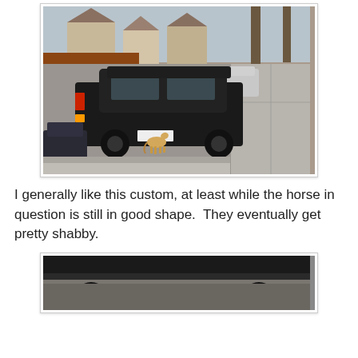[Figure (photo): A street scene showing a black sedan parked partially on the sidewalk/road with a small toy horse figurine on the sidewalk below the car. Residential neighborhood with houses, trees, and other parked cars visible in the background.]
I generally like this custom, at least while the horse in question is still in good shape.  They eventually get pretty shabby.
[Figure (photo): Bottom portion of a photo showing the underside/rear of a dark vehicle, partially cropped at the bottom of the page.]